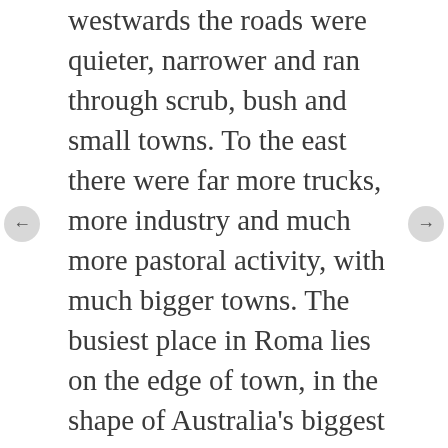westwards the roads were quieter, narrower and ran through scrub, bush and small towns. To the east there were far more trucks, more industry and much more pastoral activity, with much bigger towns. The busiest place in Roma lies on the edge of town, in the shape of Australia's biggest cattle sale yards. I rode out there for a look around. They run free tours on sale days but I was too late for that so I just took myself off on my own tour which, surprisingly, I was free to do. Visitors can move along the walkways, which overlook the cattle pens below. The auctioneer and his assistants move along a lower walkway and customers walk along between the pens at ground level. The photos show what I mean. Bidding takes